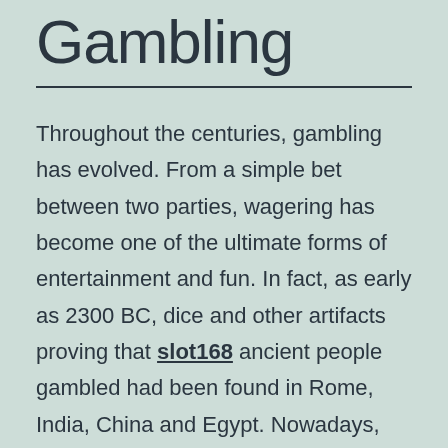Gambling
Throughout the centuries, gambling has evolved. From a simple bet between two parties, wagering has become one of the ultimate forms of entertainment and fun. In fact, as early as 2300 BC, dice and other artifacts proving that slot168 ancient people gambled had been found in Rome, India, China and Egypt. Nowadays, betting has